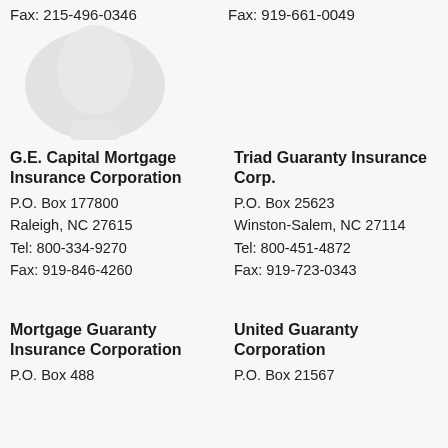Fax: 215-496-0346
Fax: 919-661-0049
[Figure (logo): Faded grayscale logo/seal in upper left area]
G.E. Capital Mortgage Insurance Corporation
P.O. Box 177800
Raleigh, NC 27615
Tel: 800-334-9270
Fax: 919-846-4260
Triad Guaranty Insurance Corp.
P.O. Box 25623
Winston-Salem, NC 27114
Tel: 800-451-4872
Fax: 919-723-0343
Mortgage Guaranty Insurance Corporation
P.O. Box 488
United Guaranty Corporation
P.O. Box 21567